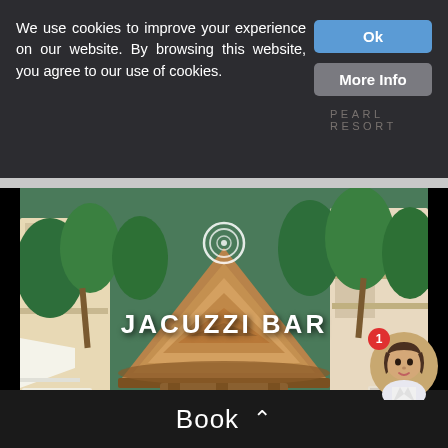We use cookies to improve your experience on our website. By browsing this website, you agree to our use of cookies.
Ok
More Info
PEARL RESORT
[Figure (photo): Aerial view of a tropical resort Jacuzzi Bar with a thatched-roof palapa structure, a colorful red circular jacuzzi pool with turquoise and white floating elements, surrounded by palm trees and white loungers]
Book ˄